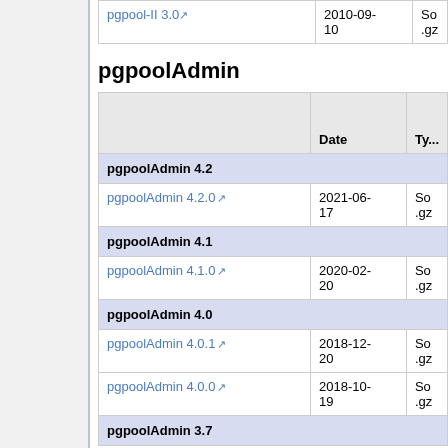|  | Date | Ty... |
| --- | --- | --- |
| pgpool-II 3.0 | 2010-09-
10 | So
.gz |
pgpoolAdmin
|  | Date | Ty... |
| --- | --- | --- |
| pgpoolAdmin 4.2 |  |  |
| pgpoolAdmin 4.2.0 | 2021-06-
17 | So
.gz |
| pgpoolAdmin 4.1 |  |  |
| pgpoolAdmin 4.1.0 | 2020-02-
20 | So
.gz |
| pgpoolAdmin 4.0 |  |  |
| pgpoolAdmin 4.0.1 | 2018-12-
20 | So
.gz |
| pgpoolAdmin 4.0.0 | 2018-10-
19 | So
.gz |
| pgpoolAdmin 3.7 |  |  |